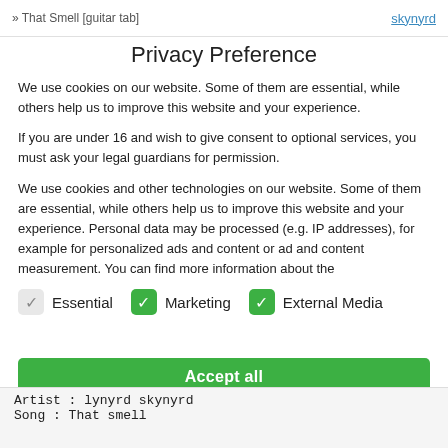» That Smell [guitar tab]  skynyrd
Privacy Preference
We use cookies on our website. Some of them are essential, while others help us to improve this website and your experience.
If you are under 16 and wish to give consent to optional services, you must ask your legal guardians for permission.
We use cookies and other technologies on our website. Some of them are essential, while others help us to improve this website and your experience. Personal data may be processed (e.g. IP addresses), for example for personalized ads and content or ad and content measurement. You can find more information about the
Essential
Marketing
External Media
Accept all
Artist : lynyrd skynyrd
Song : That smell